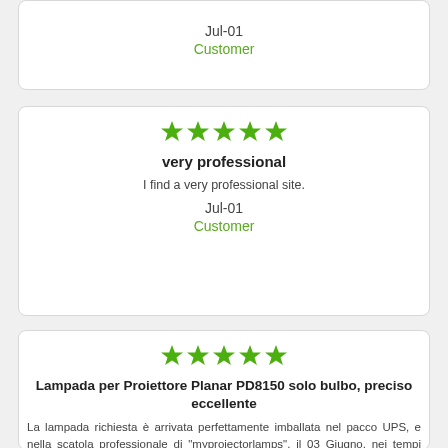Jul-01
Customer
[Figure (other): Five green stars rating]
very professional
I find a very professional site.
Jul-01
Customer
[Figure (other): Five green stars rating]
Lampada per Proiettore Planar PD8150 solo bulbo, preciso eccellente
La lampada richiesta è arrivata perfettamente imballata nel pacco UPS, e nella scatola professionale di "myprojectorlamps", il 03 Giugno, nei tempi previsti, è la mia prima volta che acquisto da